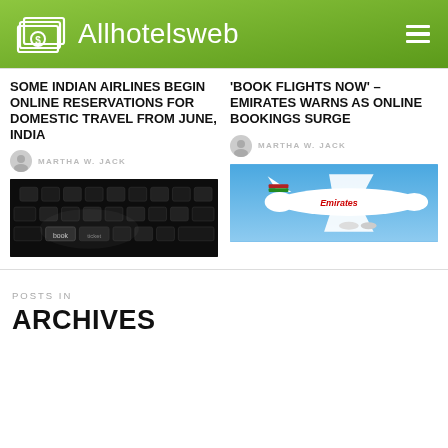Allhotelsweb
SOME INDIAN AIRLINES BEGIN ONLINE RESERVATIONS FOR DOMESTIC TRAVEL FROM JUNE, INDIA
MARTHA W. JACK
[Figure (photo): Close-up of a dark computer keyboard with keys visible including 'book' and 'ticket']
‘BOOK FLIGHTS NOW’ – EMIRATES WARNS AS ONLINE BOOKINGS SURGE
MARTHA W. JACK
[Figure (photo): Emirates A380 aircraft flying in blue sky]
POSTS IN
ARCHIVES